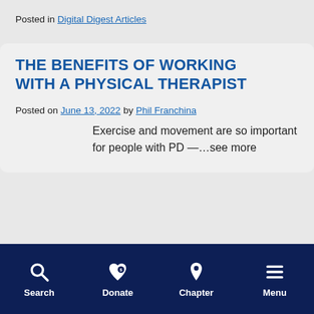Posted in Digital Digest Articles
THE BENEFITS OF WORKING WITH A PHYSICAL THERAPIST
Posted on June 13, 2022 by Phil Franchina
Exercise and movement are so important for people with PD —…see more
Search  Donate  Chapter  Menu